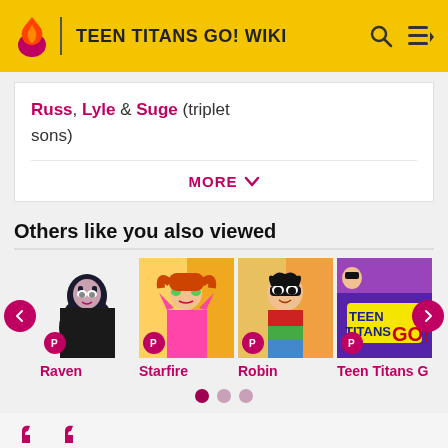TEEN TITANS GO! WIKI
Russ, Lyle & Suge (triplet sons)
MORE
Others like you also viewed
[Figure (screenshot): Carousel of character cards: Raven, Starfire, Robin, Teen Titans Go! with navigation arrows and page dots]
Behold, Trigon! Master of the dark, destroyer of